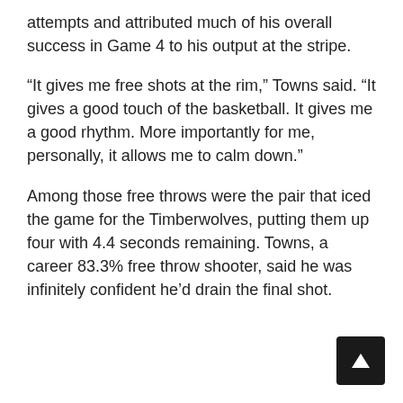attempts and attributed much of his overall success in Game 4 to his output at the stripe.
“It gives me free shots at the rim,” Towns said. “It gives a good touch of the basketball. It gives me a good rhythm. More importantly for me, personally, it allows me to calm down.”
Among those free throws were the pair that iced the game for the Timberwolves, putting them up four with 4.4 seconds remaining. Towns, a career 83.3% free throw shooter, said he was infinitely confident he’d drain the final shot.
[Figure (other): Navigation button with upward-pointing arrow on dark background]